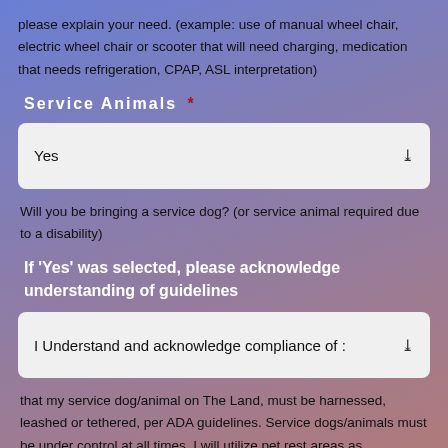please explain your need. (example: use of manual wheel chair, electric wheel chair or scooter that will need charging, medication that needs refrigeration, CPAP, ASL interpretation)
Service Animals *
Yes
Will you be bringing a service dog? (or service animal required due to a disability)
If 'Yes' was selected, please acknowledge understanding of guidelines
I Understand and acknowledge compliance of :
that my service dog/animal on The Land, must be harnessed, leashed or tethered, per ADA guidelines. Service dogs/animals must be under control at all times. I will utilize pet rest areas as